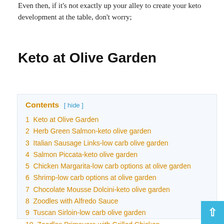Even then, if it's not exactly up your alley to create your keto development at the table, don't worry;
Keto at Olive Garden
Contents [ hide ]
1 Keto at Olive Garden
2 Herb Green Salmon-keto olive garden
3 Italian Sausage Links-low carb olive garden
4 Salmon Piccata-keto olive garden
5 Chicken Margarita-low carb options at olive garden
6 Shrimp-low carb options at olive garden
7 Chocolate Mousse Dolcini-keto olive garden
8 Zoodles with Alfredo Sauce
9 Tuscan Sirloin-low carb olive garden
10 Zoodles Primavera with Grilled Chicken